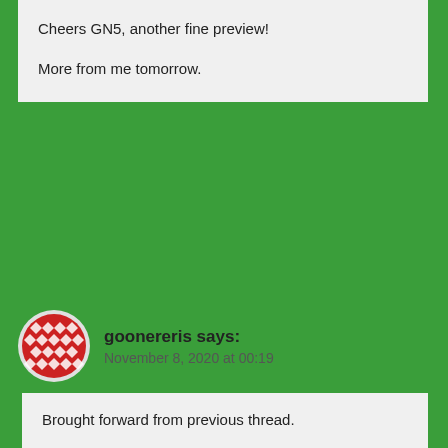Cheers GN5, another fine preview!

More from me tomorrow.
goonereris says:
November 8, 2020 at 00:19
Brought forward from previous thread.

Congratulations, jw1. I (we all) had an idea how you received DJT’s ascent to the Presidency and so, how you must have endured the last 3+ years.

With Joe Biden, I believe it is normal service resuming for the US.